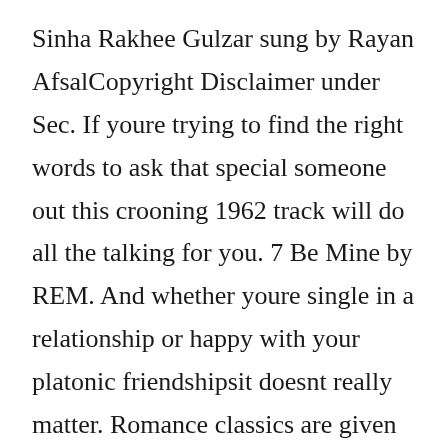Sinha Rakhee Gulzar sung by Rayan AfsalCopyright Disclaimer under Sec. If youre trying to find the right words to ask that special someone out this crooning 1962 track will do all the talking for you. 7 Be Mine by REM. And whether youre single in a relationship or happy with your platonic friendshipsit doesnt really matter. Romance classics are given fine re-interpretations by artists like Maroon 5 The Way You Look Tonight Jamiroquai Im In the Mood For Love and Amy Winehouse Cupid.